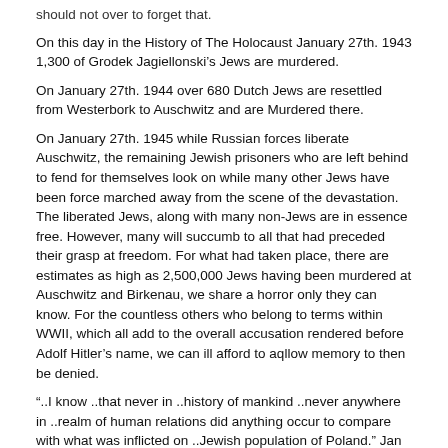should not over to forget that.
On this day in the History of The Holocaust January 27th. 1943 1,300 of Grodek Jagiellonski’s Jews are murdered.
On January 27th. 1944 over 680 Dutch Jews are resettled from Westerbork to Auschwitz and are Murdered there.
On January 27th. 1945 while Russian forces liberate Auschwitz, the remaining Jewish prisoners who are left behind to fend for themselves look on while many other Jews have been force marched away from the scene of the devastation. The liberated Jews, along with many non-Jews are in essence free. However, many will succumb to all that had preceded their grasp at freedom. For what had taken place, there are estimates as high as 2,500,000 Jews having been murdered at Auschwitz and Birkenau, we share a horror only they can know. For the countless others who belong to terms within WWII, which all add to the overall accusation rendered before Adolf Hitler’s name, we can ill afford to aqllow memory to then be denied.
“..I know ..that never in ..history of mankind ..never anywhere in ..realm of human relations did anything occur to compare with what was inflicted on ..Jewish population of Poland.” Jan Karski.
With that reality for the Jewish Murdered of Auschwitz and Birkenau all being added toward a tally which recognises 6,000,000 Jews of The Holocaust having been Murdered, this Death Camp ranks amongst Hitler’s worst. Today, with memory and memorial we recognise that the